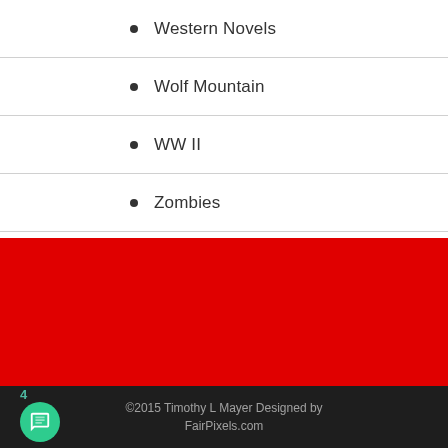Western Novels
Wolf Mountain
WW II
Zombies
©2015 Timothy L Mayer Designed by FairPixels.com